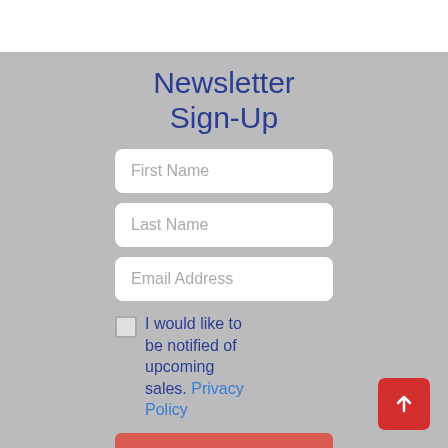Newsletter Sign-Up
First Name
Last Name
Email Address
I would like to be notified of upcoming sales. Privacy Policy
Submit